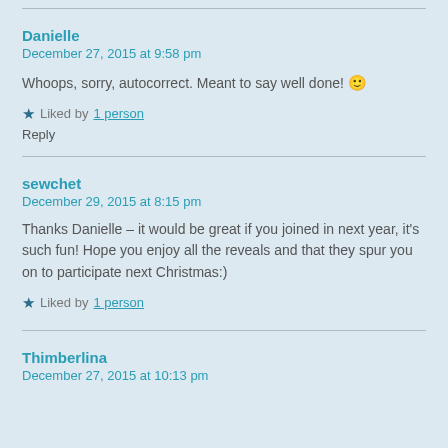Danielle
December 27, 2015 at 9:58 pm
Whoops, sorry, autocorrect. Meant to say well done! 🙂
★ Liked by 1 person
Reply
sewchet
December 29, 2015 at 8:15 pm
Thanks Danielle – it would be great if you joined in next year, it's such fun! Hope you enjoy all the reveals and that they spur you on to participate next Christmas:)
★ Liked by 1 person
Thimberlina
December 27, 2015 at 10:13 pm